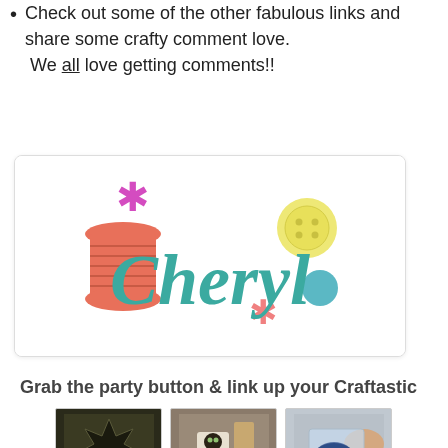Check out some of the other fabulous links and share some crafty comment love. We all love getting comments!!
[Figure (logo): Cheryl crafts logo with a thread spool, the word Cheryl in teal cursive, a magenta asterisk, a yellow button, a pink flower, and a teal circle]
Grab the party button & link up your Craftastic projects!
[Figure (photo): Photo of a dark snowflake-shaped ornament with 'Let it Snow' text]
[Figure (photo): Photo of a cat-themed pencil case on a wooden tray with supplies]
[Figure (photo): Photo of a hand holding a plastic bag with dark blue material]